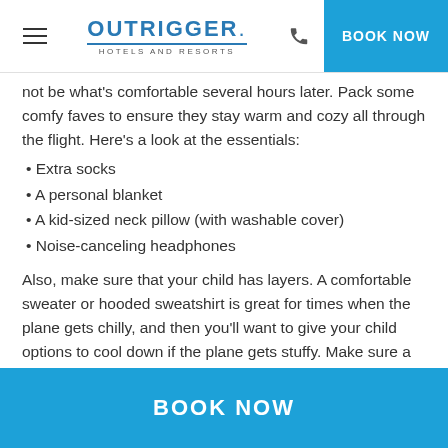OUTRIGGER. HOTELS AND RESORTS | BOOK NOW
not be what's comfortable several hours later. Pack some comfy faves to ensure they stay warm and cozy all through the flight. Here's a look at the essentials:
Extra socks
A personal blanket
A kid-sized neck pillow (with washable cover)
Noise-canceling headphones
Also, make sure that your child has layers. A comfortable sweater or hooded sweatshirt is great for times when the plane gets chilly, and then you'll want to give your child options to cool down if the plane gets stuffy. Make sure a tank top or tee is available under all those layers. This will allow them to change without having to make an
BOOK NOW